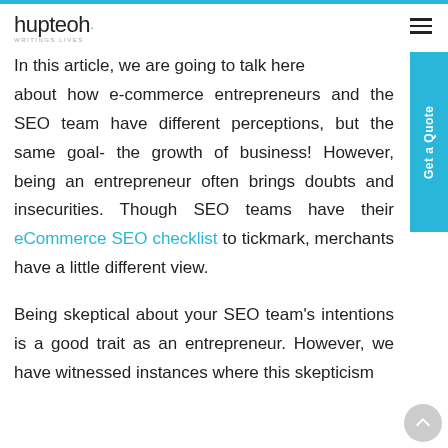hupteoh · MENU
In this article, we are going to talk here about how e-commerce entrepreneurs and the SEO team have different perceptions, but the same goal- the growth of business! However, being an entrepreneur often brings doubts and insecurities. Though SEO teams have their eCommerce SEO checklist to tickmark, merchants have a little different view.
Being skeptical about your SEO team's intentions is a good trait as an entrepreneur. However, we have witnessed instances where this skepticism